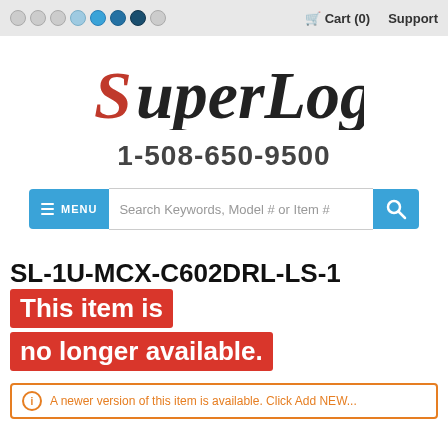Cart (0)  Support
[Figure (logo): SuperLogics logo with red stylized S and bold italic text]
1-508-650-9500
[Figure (screenshot): Search bar with MENU button and search icon]
SL-1U-MCX-C602DRL-LS-1
This item is no longer available.
A newer version of this item is available. Click Add NEW...